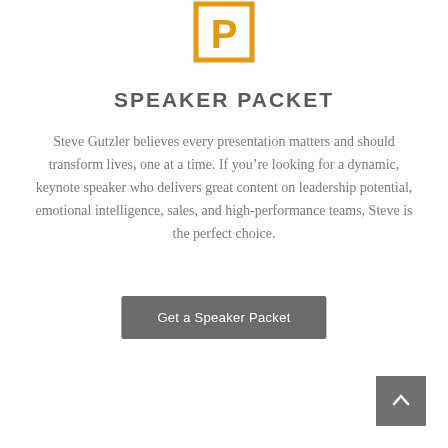[Figure (logo): Orange square outline with letter P inside — speaker packet logo]
SPEAKER PACKET
Steve Gutzler believes every presentation matters and should transform lives, one at a time. If you're looking for a dynamic, keynote speaker who delivers great content on leadership potential, emotional intelligence, sales, and high-performance teams, Steve is the perfect choice.
Get a Speaker Packet
[Figure (other): Grey scroll-to-top button with upward chevron arrow in bottom-right corner]